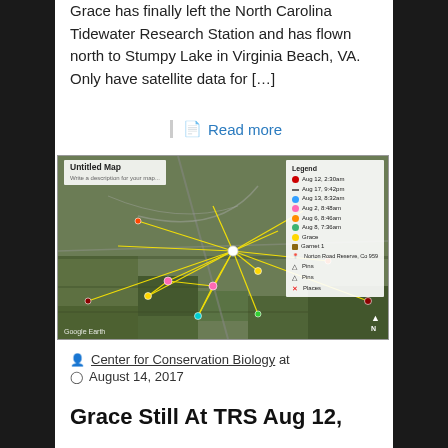Grace has finally left the North Carolina Tidewater Research Station and has flown north to Stumpy Lake in Virginia Beach, VA. Only have satellite data for […]
Read more
[Figure (map): Google Earth satellite map labeled 'Untitled Map' with yellow lines showing bird tracking paths over a rural/agricultural landscape. A legend on the right side shows color-coded entries for different dates and markers including Aug 12, Aug 17, Aug 13, Aug 2, Aug 8, Grace, Garnet 1, Norton Road Reserve, Pins, Pins, Places.]
Center for Conservation Biology at
August 14, 2017
Grace Still At TRS Aug 12,